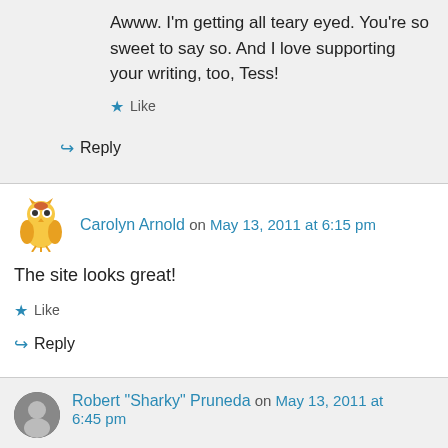Awww. I'm getting all teary eyed. You're so sweet to say so. And I love supporting your writing, too, Tess!
★ Like
↪ Reply
Carolyn Arnold on May 13, 2011 at 6:15 pm
The site looks great!
★ Like
↪ Reply
Robert "Sharky" Pruneda on May 13, 2011 at 6:45 pm